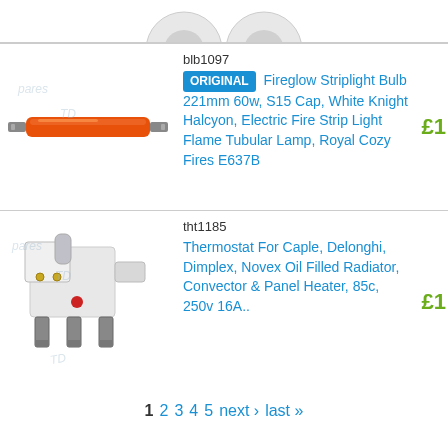[Figure (photo): Partial top image of two round white bulbs, cropped at top of page]
blb1097
ORIGINAL  Fireglow Striplight Bulb 221mm 60w, S15 Cap, White Knight Halcyon, Electric Fire Strip Light Flame Tubular Lamp, Royal Cozy Fires E637B
[Figure (photo): Orange/red tubular fireglow striplight bulb with metal end caps]
£1
tht1185
Thermostat For Caple, Delonghi, Dimplex, Novex Oil Filled Radiator, Convector & Panel Heater, 85c, 250v 16A..
[Figure (photo): White plastic thermostat component with metal terminals and red indicator dot]
£1
1  2  3  4  5  next ›  last »